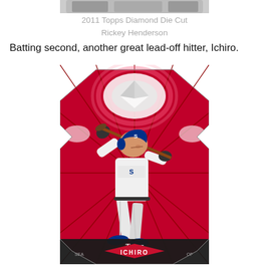[Figure (photo): Partial top edge of a Topps Diamond Die Cut baseball card for Rickey Henderson, showing only the very top portion of the card]
2011 Topps Diamond Die Cut
Rickey Henderson
Batting second, another great lead-off hitter, Ichiro.
[Figure (photo): 2011 Topps Diamond Die Cut baseball card featuring Ichiro Suzuki of the Seattle Mariners (SEA, OF), shown in a batting stance. The card has a distinctive die-cut shape with a red starburst background and silver metallic diamond accents at the top. The Topps logo appears at the bottom center, with 'ICHIRO' in red letters on a diamond shape and 'SEA' and 'OF' on either side.]